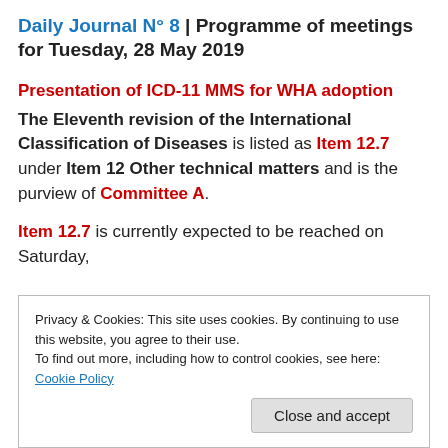Daily Journal N° 8 | Programme of meetings for Tuesday, 28 May 2019
Presentation of ICD-11 MMS for WHA adoption
The Eleventh revision of the International Classification of Diseases is listed as Item 12.7 under Item 12 Other technical matters and is the purview of Committee A.
Item 12.7 is currently expected to be reached on Saturday,
Privacy & Cookies: This site uses cookies. By continuing to use this website, you agree to their use.
To find out more, including how to control cookies, see here: Cookie Policy